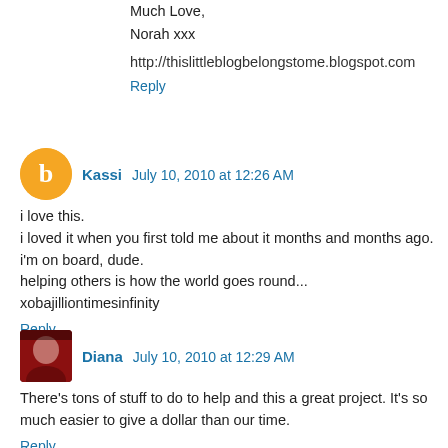Much Love,
Norah xxx
http://thislittleblogbelongstome.blogspot.com
Reply
Kassi  July 10, 2010 at 12:26 AM
i love this.
i loved it when you first told me about it months and months ago. i'm on board, dude.
helping others is how the world goes round...
xobajilliontimesinfinity
Reply
Diana  July 10, 2010 at 12:29 AM
There's tons of stuff to do to help and this a great project. It's so much easier to give a dollar than our time.
Reply